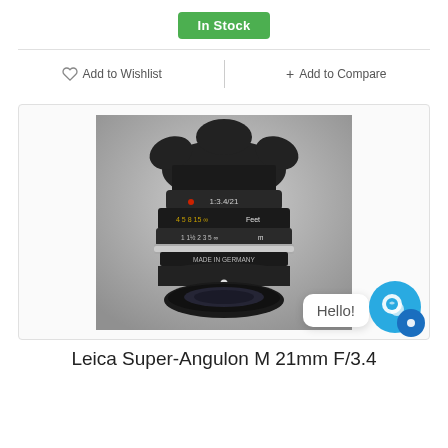In Stock
Add to Wishlist
+ Add to Compare
[Figure (photo): Leica Super-Angulon M 21mm F/3.4 lens photograph showing the black lens with hood attached and focus/aperture rings visible, on a gray metallic background. Markings include 1:3.4/21 and distance scale in feet and meters.]
Leica Super-Angulon M 21mm F/3.4